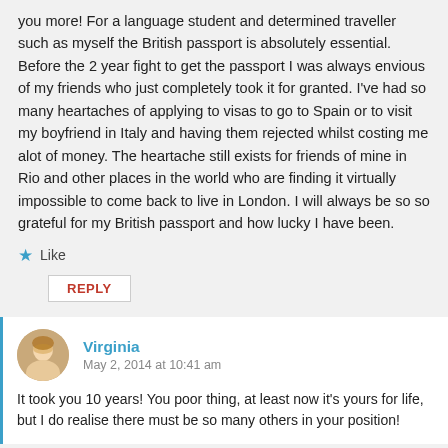you more! For a language student and determined traveller such as myself the British passport is absolutely essential. Before the 2 year fight to get the passport I was always envious of my friends who just completely took it for granted. I've had so many heartaches of applying to visas to go to Spain or to visit my boyfriend in Italy and having them rejected whilst costing me alot of money. The heartache still exists for friends of mine in Rio and other places in the world who are finding it virtually impossible to come back to live in London. I will always be so so grateful for my British passport and how lucky I have been.
★ Like
REPLY
Virginia
May 2, 2014 at 10:41 am
It took you 10 years! You poor thing, at least now it's yours for life, but I do realise there must be so many others in your position!